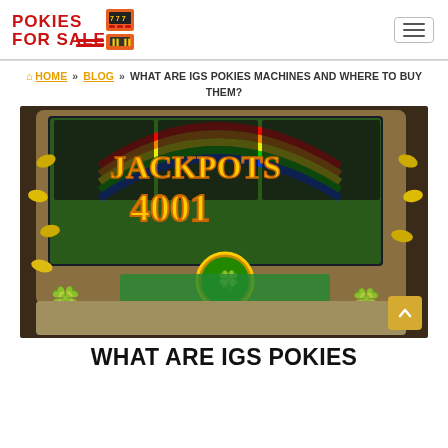POKIES FOR SALE [logo]
HOME » BLOG » WHAT ARE IGS POKIES MACHINES AND WHERE TO BUY THEM?
[Figure (photo): Close-up photo of an IGS pokie slot machine showing a leprechaun-themed game called 'Jackpots' with '4001' displayed, decorated with gold coins, four-leaf clovers, and colorful buttons (yellow SMALL, blue, yellow DOUBLE, red, blue) at the bottom.]
WHAT ARE IGS POKIES